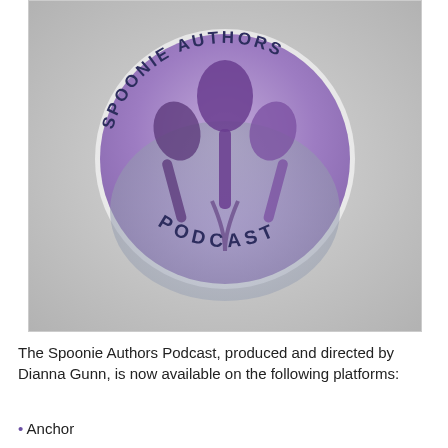[Figure (logo): Spoonie Authors Podcast logo: a circular purple badge with three spoon shapes arranged like a plant/flower, text 'SPOONIE AUTHORS' arched at top and 'PODCAST' at bottom, on a grey gradient background]
The Spoonie Authors Podcast, produced and directed by Dianna Gunn, is now available on the following platforms:
Anchor